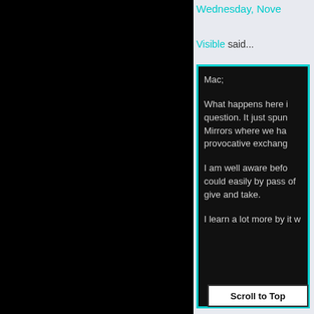Wednesday, Nove...
Visible said...
Mac;

What happens here i... question. It just spun... Mirrors where we ha... provocative exchang...

I am well aware befo... could easily by pass ... of give and take.

I learn a lot more by... it w...
Scroll to Top